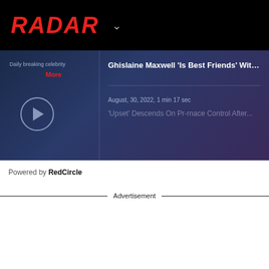RADAR
[Figure (screenshot): Radar podcast player widget with dark blue/purple gradient background. Shows episode title 'Ghislaine Maxwell Is Best Friends With M...' with play button on left, date August 30, 2022, 1 min 17 sec, and partial next episode title.]
Daily breaking celebrity
More
Ghislaine Maxwell 'Is Best Friends' With M...
August, 30, 2022, 1 min 17 sec
'Upset' Descends On Pr-rnace Control After...
Powered by RedCircle
Advertisement